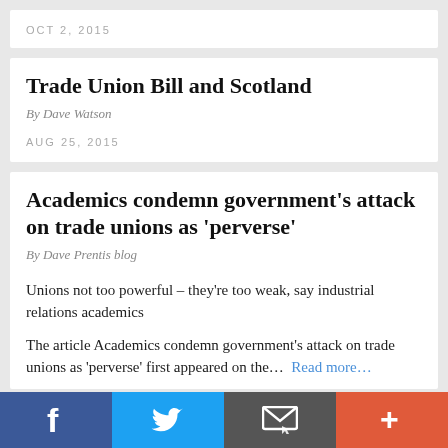OCT 2, 2015
Trade Union Bill and Scotland
By Dave Watson
AUG 25, 2015
Academics condemn government’s attack on trade unions as ‘perverse’
By Dave Prentis blog
Unions not too powerful – they’re too weak, say industrial relations academics
The article Academics condemn government’s attack on trade unions as ‘perverse’ first appeared on the…  Read more…